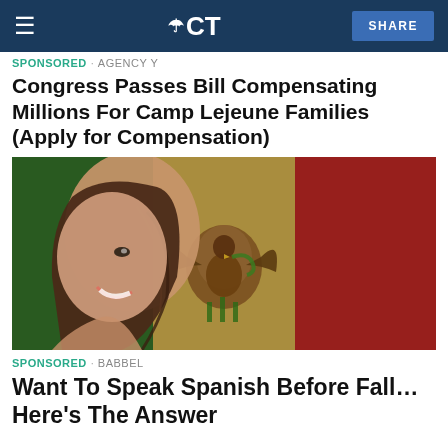NBC CT — SHARE
SPONSORED · AGENCY Y
Congress Passes Bill Compensating Millions For Camp Lejeune Families (Apply for Compensation)
[Figure (photo): Woman smiling in front of a Mexican flag with the national coat of arms eagle emblem]
SPONSORED · BABBEL
Want To Speak Spanish Before Fall… Here's The Answer